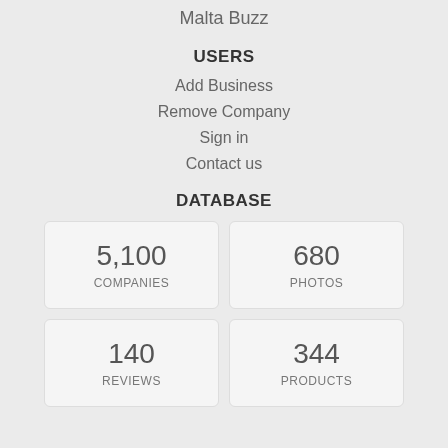Malta Buzz
USERS
Add Business
Remove Company
Sign in
Contact us
DATABASE
| Stat | Value |
| --- | --- |
| COMPANIES | 5,100 |
| PHOTOS | 680 |
| REVIEWS | 140 |
| PRODUCTS | 344 |